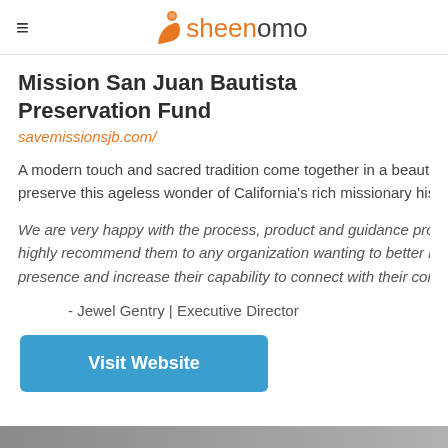≡ sheenomo
Mission San Juan Bautista Preservation Fund
savemissionsjb.com/
A modern touch and sacred tradition come together in a beauti preserve this ageless wonder of California's rich missionary hist
We are very happy with the process, product and guidance provid highly recommend them to any organization wanting to better im presence and increase their capability to connect with their comm
- Jewel Gentry | Executive Director
Visit Website